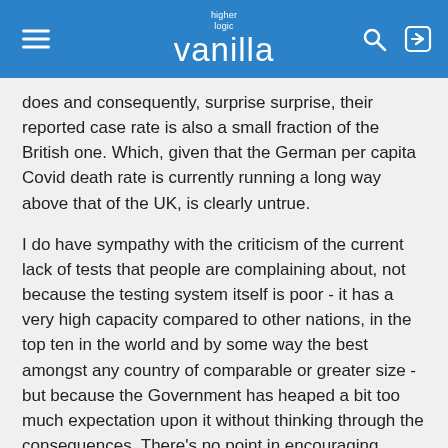higher logic vanilla
does and consequently, surprise surprise, their reported case rate is also a small fraction of the British one. Which, given that the German per capita Covid death rate is currently running a long way above that of the UK, is clearly untrue.
I do have sympathy with the criticism of the current lack of tests that people are complaining about, not because the testing system itself is poor - it has a very high capacity compared to other nations, in the top ten in the world and by some way the best amongst any country of comparable or greater size - but because the Government has heaped a bit too much expectation upon it without thinking through the consequences. There's no point in encouraging everyone in the country to start ordering lateral